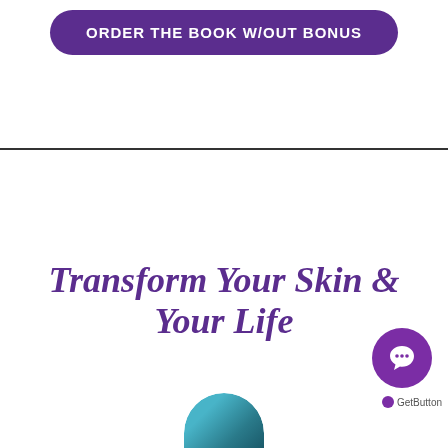[Figure (other): Purple rounded button with white bold text reading ORDER THE BOOK W/OUT BONUS]
Transform Your Skin & Your Life
[Figure (other): Purple circular chat/message button with speech bubble icon, labeled GetButton below]
[Figure (photo): Partial photo of a person at bottom center of page]